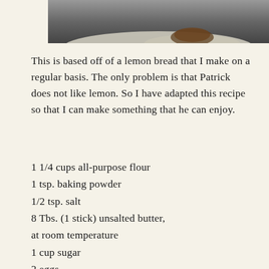[Figure (photo): Partial photo of a baked item on a white plate, cropped at top of page]
This is based off of a lemon bread that I make on a regular basis. The only problem is that Patrick does not like lemon. So I have adapted this recipe so that I can make something that he can enjoy.
1 1/4 cups all-purpose flour
1 tsp. baking powder
1/2 tsp. salt
8 Tbs. (1 stick) unsalted butter, at room temperature
1 cup sugar
2 eggs
1/2 cup milk
2 Tbs. finely grated orange zest